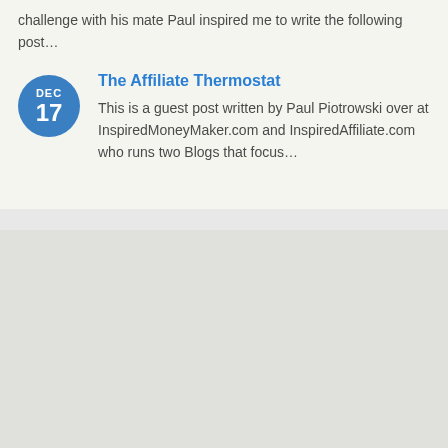challenge with his mate Paul inspired me to write the following post…
The Affiliate Thermostat
This is a guest post written by Paul Piotrowski over at InspiredMoneyMaker.com and InspiredAffiliate.com who runs two Blogs that focus…